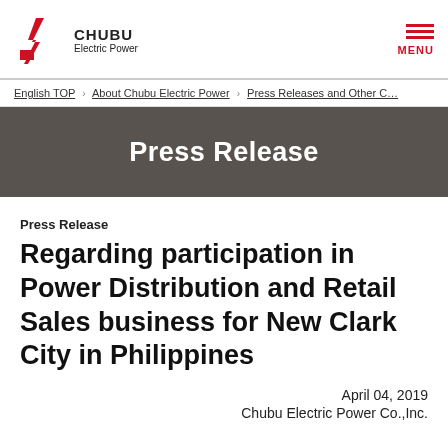CHUBU Electric Power — MENU
English TOP › About Chubu Electric Power › Press Releases and Other C…
Press Release
Press Release
Regarding participation in Power Distribution and Retail Sales business for New Clark City in Philippines
April 04, 2019
Chubu Electric Power Co.,Inc.